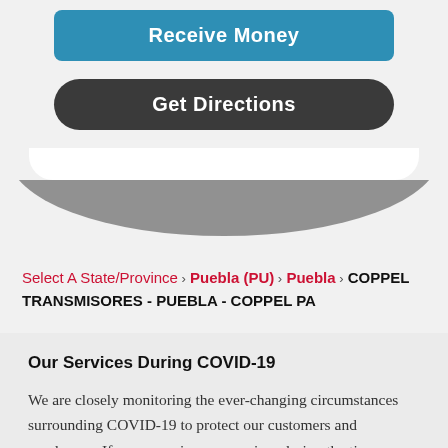[Figure (screenshot): Blue 'Receive Money' button at top of mobile app screen]
[Figure (screenshot): Dark 'Get Directions' rounded button on mobile app screen]
Select A State/Province > Puebla (PU) > Puebla > COPPEL TRANSMISORES - PUEBLA - COPPEL PA
Our Services During COVID-19
We are closely monitoring the ever-changing circumstances surrounding COVID-19 to protect our customers and employees. If you are using our services during the time, please remember to: